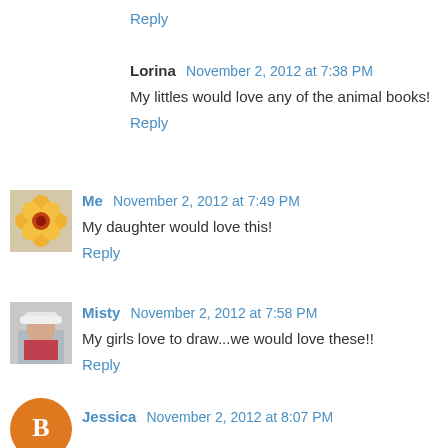Reply
Lorina November 2, 2012 at 7:38 PM
My littles would love any of the animal books!
Reply
[Figure (photo): Avatar image showing orange flower]
Me November 2, 2012 at 7:49 PM
My daughter would love this!
Reply
[Figure (photo): Avatar image of woman in white hat]
Misty November 2, 2012 at 7:58 PM
My girls love to draw...we would love these!!
Reply
[Figure (photo): Avatar orange circle with blogger B logo]
Jessica November 2, 2012 at 8:07 PM